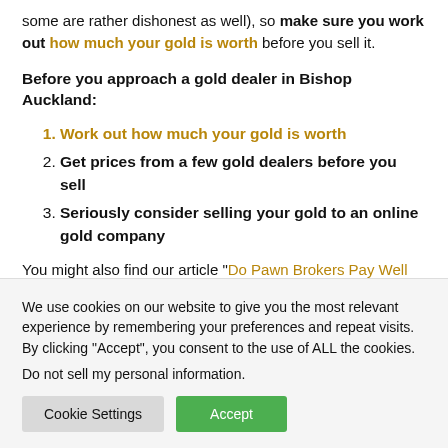some are rather dishonest as well), so make sure you work out how much your gold is worth before you sell it.
Before you approach a gold dealer in Bishop Auckland:
Work out how much your gold is worth
Get prices from a few gold dealers before you sell
Seriously consider selling your gold to an online gold company
You might also find our article “Do Pawn Brokers Pay Well
We use cookies on our website to give you the most relevant experience by remembering your preferences and repeat visits. By clicking “Accept”, you consent to the use of ALL the cookies.
Do not sell my personal information.